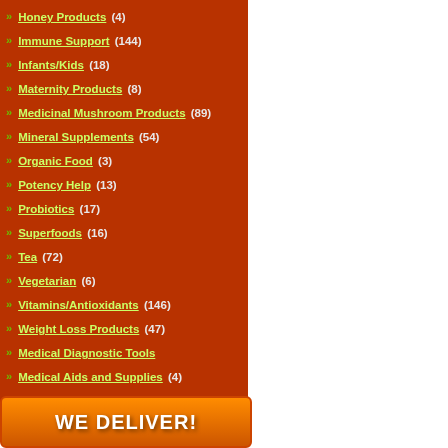Honey Products (4)
Immune Support (144)
Infants/Kids (18)
Maternity Products (8)
Medicinal Mushroom Products (89)
Mineral Supplements (54)
Organic Food (3)
Potency Help (13)
Probiotics (17)
Superfoods (16)
Tea (72)
Vegetarian (6)
Vitamins/Antioxidants (146)
Weight Loss Products (47)
Medical Diagnostic Tools
Medical Aids and Supplies (4)
By Medical Condition (1059)
WE DELIVER!